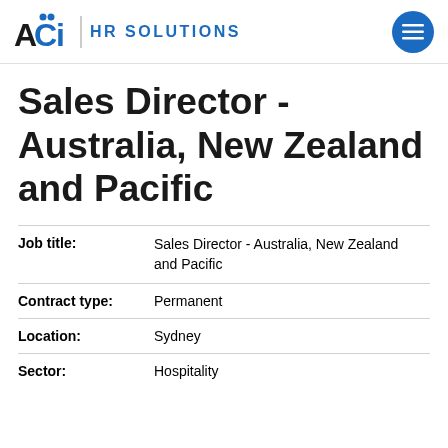ACI HR SOLUTIONS
Sales Director - Australia, New Zealand and Pacific
| Job title: | Sales Director - Australia, New Zealand and Pacific |
| Contract type: | Permanent |
| Location: | Sydney |
| Sector: | Hospitality |